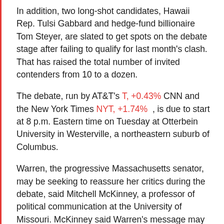In addition, two long-shot candidates, Hawaii Rep. Tulsi Gabbard and hedge-fund billionaire Tom Steyer, are slated to get spots on the debate stage after failing to qualify for last month's clash. That has raised the total number of invited contenders from 10 to a dozen.
The debate, run by AT&T's T, +0.43% CNN and the New York Times NYT, +1.74% , is due to start at 8 p.m. Eastern time on Tuesday at Otterbein University in Westerville, a northeastern suburb of Columbus.
Warren, the progressive Massachusetts senator, may be seeking to reassure her critics during the debate, said Mitchell McKinney, a professor of political communication at the University of Missouri. McKinney said Warren's message may boil down to the following: "You can